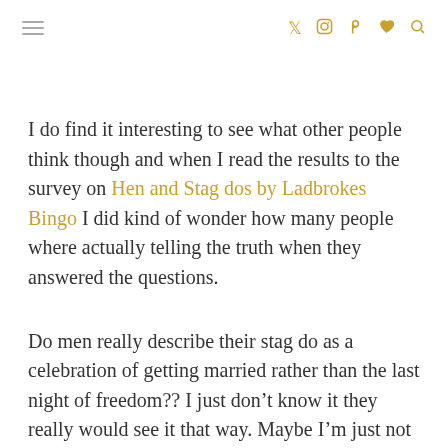[hamburger menu] [twitter] [instagram] [pinterest] [heart] [search]
I do find it interesting to see what other people think though and when I read the results to the survey on Hen and Stag dos by Ladbrokes Bingo I did kind of wonder how many people where actually telling the truth when they answered the questions.
Do men really describe their stag do as a celebration of getting married rather than the last night of freedom?? I just don’t know it they really would see it that way. Maybe I’m just not giving them enough credit..
Anyway, if your interested in having a read, here are the results from the survey.